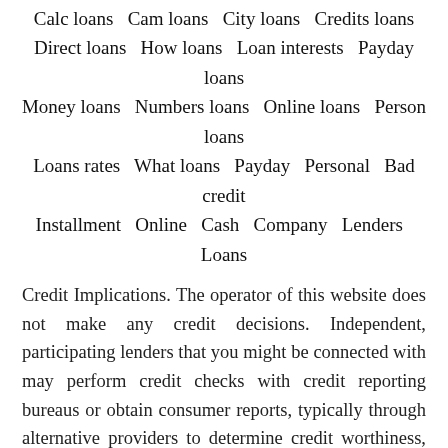Calc loans   Cam loans   City loans   Credits loans   Direct loans   How loans   Loan interests   Payday loans   Money loans   Numbers loans   Online loans   Person loans   Loans rates   What loans   Payday   Personal   Bad credit   Installment   Online   Cash   Company   Lenders   Loans
Credit Implications. The operator of this website does not make any credit decisions. Independent, participating lenders that you might be connected with may perform credit checks with credit reporting bureaus or obtain consumer reports, typically through alternative providers to determine credit worthiness, credit standing and/or credit capacity. By submitting your information, you agree to allow participating lenders to verify your information and check your credit. Loans provided by independent, participating lenders in our network are designed to provide cash to you to be repaid within a short amount of time. The short-term loans are not a solution for long-term debt and credit difficulties. Only borrow an amount that can be repaid on the date of your next pay period. Consider seeking professional advice regarding your financial needs, risks and alternatives to short-term loans. Late Payments of loans may